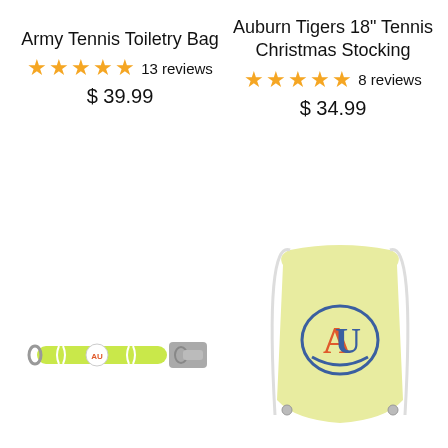Army Tennis Toiletry Bag
★★★★★ 13 reviews
$ 39.99
Auburn Tigers 18" Tennis Christmas Stocking
★★★★★ 8 reviews
$ 34.99
[Figure (photo): Yellow-green tennis bottle opener keychain with an Auburn logo badge in the center, silver metal opener end]
[Figure (photo): Light yellow drawstring bag with Auburn Tigers AU logo in orange and navy on the front]